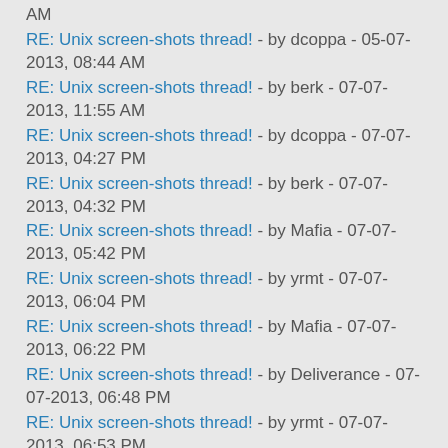AM
RE: Unix screen-shots thread! - by dcoppa - 05-07-2013, 08:44 AM
RE: Unix screen-shots thread! - by berk - 07-07-2013, 11:55 AM
RE: Unix screen-shots thread! - by dcoppa - 07-07-2013, 04:27 PM
RE: Unix screen-shots thread! - by berk - 07-07-2013, 04:32 PM
RE: Unix screen-shots thread! - by Mafia - 07-07-2013, 05:42 PM
RE: Unix screen-shots thread! - by yrmt - 07-07-2013, 06:04 PM
RE: Unix screen-shots thread! - by Mafia - 07-07-2013, 06:22 PM
RE: Unix screen-shots thread! - by Deliverance - 07-07-2013, 06:48 PM
RE: Unix screen-shots thread! - by yrmt - 07-07-2013, 06:53 PM
RE: Unix screen-shots thread! - by Deliverance - 07-07-2013, 07:01 PM